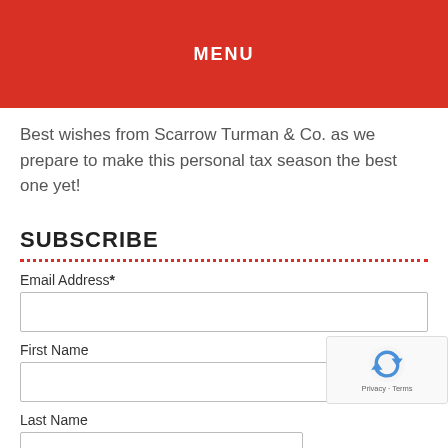MENU
Best wishes from Scarrow Turman & Co. as we prepare to make this personal tax season the best one yet!
SUBSCRIBE
Email Address*
First Name
Last Name
Subscribe